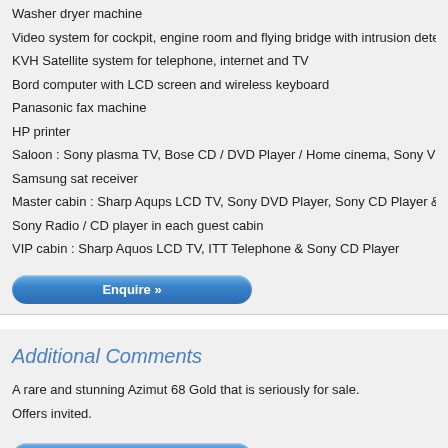Washer dryer machine
Video system for cockpit, engine room and flying bridge with intrusion detect
KVH Satellite system for telephone, internet and TV
Bord computer with LCD screen and wireless keyboard
Panasonic fax machine
HP printer
Saloon : Sony plasma TV, Bose CD / DVD Player / Home cinema, Sony VCR
Samsung sat receiver
Master cabin : Sharp Aqups LCD TV, Sony DVD Player, Sony CD Player & S
Sony Radio / CD player in each guest cabin
VIP cabin : Sharp Aquos LCD TV, ITT Telephone & Sony CD Player
Additional Comments
A rare and stunning Azimut 68 Gold that is seriously for sale.
Offers invited.